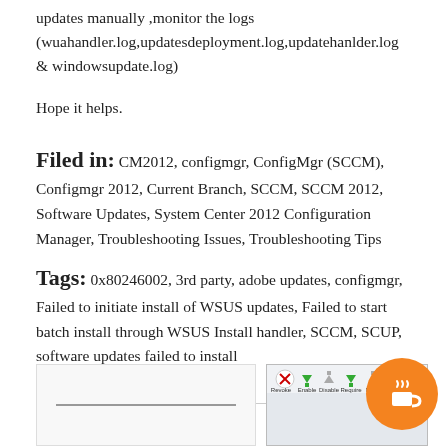updates manually ,monitor the logs (wuahandler.log,updatesdeployment.log,updatehanlder.log & windowsupdate.log)
Hope it helps.
Filed in: CM2012, configmgr, ConfigMgr (SCCM), Configmgr 2012, Current Branch, SCCM, SCCM 2012, Software Updates, System Center 2012 Configuration Manager, Troubleshooting Issues, Troubleshooting Tips
Tags: 0x80246002, 3rd party, adobe updates, configmgr, Failed to initiate install of WSUS updates, Failed to start batch install through WSUS Install handler, SCCM, SCUP, software updates failed to install
RELATED POSTS
[Figure (screenshot): Screenshot of a document or post thumbnail on the left]
[Figure (screenshot): Screenshot of a software toolbar with icons: Revoke, Enable, Disable, Require, Make, Delete, Set Sco buttons]